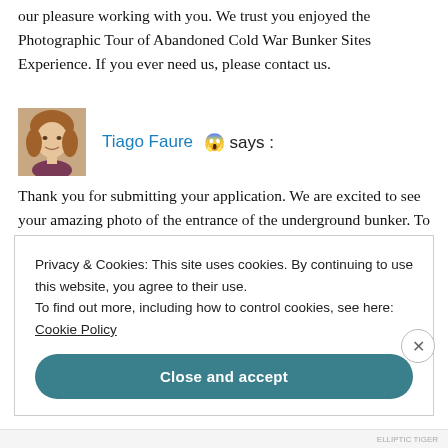Thank you for taking control of your photography. It was our pleasure working with you. We trust you enjoyed the Photographic Tour of Abandoned Cold War Bunker Sites Experience. If you ever need us, please contact us.
Tiago Faure 😱 says :
[Figure (photo): Small avatar photo of a young person with shoulder-length hair, smiling.]
Thank you for submitting your application. We are excited to see your amazing photo of the entrance of the underground bunker. To improve your chances of being
Privacy & Cookies: This site uses cookies. By continuing to use this website, you agree to their use.
To find out more, including how to control cookies, see here: Cookie Policy
Close and accept